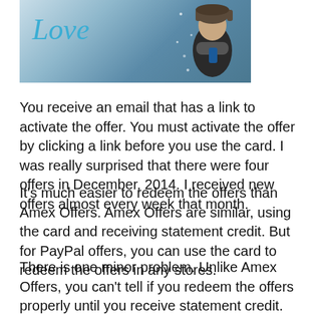[Figure (photo): Photo banner with cursive 'Love' text in blue and a person wearing a winter hat, snowy background]
You receive an email that has a link to activate the offer. You must activate the offer by clicking a link before you use the card. I was really surprised that there were four offers in December, 2014. I received new offers almost every week that month.
It's much easier to redeem the offers than Amex Offers. Amex Offers are similar, using the card and receiving statement credit. But for PayPal offers, you can use the card to redeem the offers in any stores.
There is one minor problem. Unlike Amex Offers, you can't tell if you redeem the offers properly until you receive statement credit. So, it's better to keep a record. I decided to keep a record here in this blog.